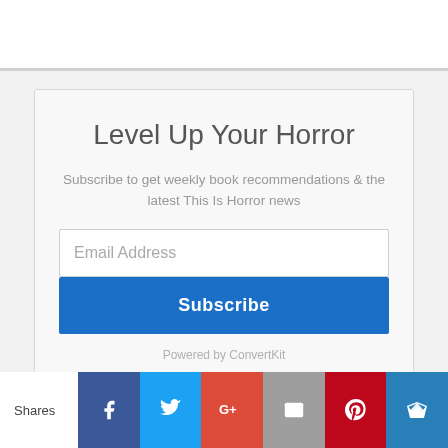Level Up Your Horror
Subscribe to get weekly book recommendations & the latest This Is Horror news
Email Address
Subscribe
Powered by ConvertKit
Shares